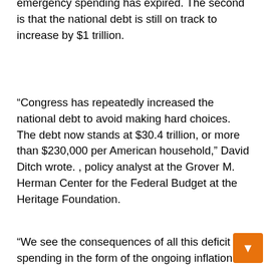emergency spending has expired. The second is that the national debt is still on track to increase by $1 trillion.
“Congress has repeatedly increased the national debt to avoid making hard choices. The debt now stands at $30.4 trillion, or more than $230,000 per American household,” David Ditch wrote. , policy analyst at the Grover M. Herman Center for the Federal Budget at the Heritage Foundation.
“We see the consequences of all this deficit spending in the form of the ongoing inflation crisis – and the long-term consequences of our unsustainable debt could be even worse.”